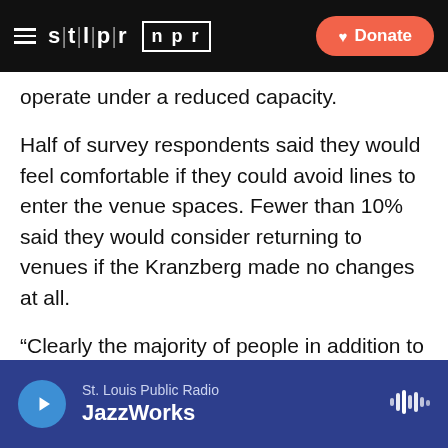STLPR NPR | Donate
operate under a reduced capacity.
Half of survey respondents said they would feel comfortable if they could avoid lines to enter the venue spaces. Fewer than 10% said they would consider returning to venues if the Kranzberg made no changes at all.
“Clearly the majority of people in addition to wanting a vaccine want to be able to enjoy the arts with this kind of social distancing policy, having a little bit more limited capacity in performing arts venues, in galleries, to be able to still enjoy the arts but do so at safe distances,” Warshauer said.
St. Louis Public Radio | JazzWorks